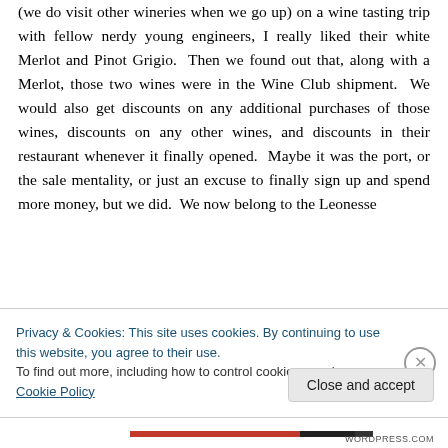(we do visit other wineries when we go up) on a wine tasting trip with fellow nerdy young engineers, I really liked their white Merlot and Pinot Grigio.  Then we found out that, along with a Merlot, those two wines were in the Wine Club shipment.  We would also get discounts on any additional purchases of those wines, discounts on any other wines, and discounts in their restaurant whenever it finally opened.  Maybe it was the port, or the sale mentality, or just an excuse to finally sign up and spend more money, but we did.  We now belong to the Leonesse
Privacy & Cookies: This site uses cookies. By continuing to use this website, you agree to their use.
To find out more, including how to control cookies, see here: Cookie Policy
Close and accept